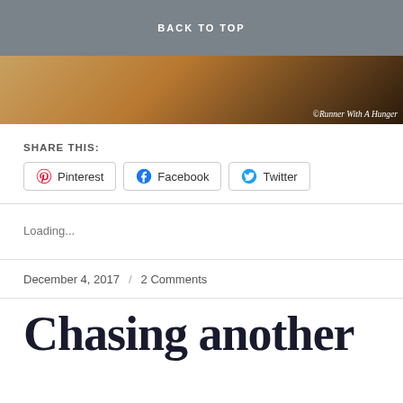BACK TO TOP
[Figure (photo): Close-up food photo with warm orange and brown tones, with watermark text '©Runner With A Hunger' in bottom right corner]
SHARE THIS:
Pinterest  Facebook  Twitter
Loading...
December 4, 2017   /   2 Comments
Chasing another